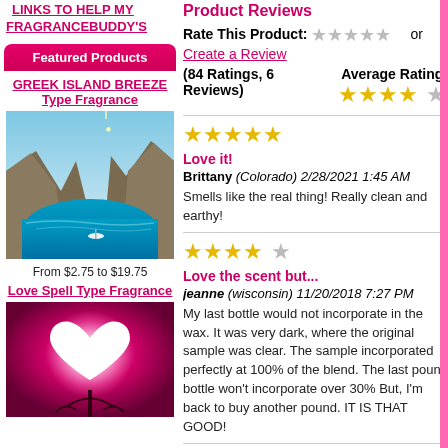LINKS TO HELP MY FRAGRANCEBUDDY'S
Featured Products
GREEK ISLAND BREEZE Type Fragrance
[Figure (photo): Greek island bay with turquoise water and rocky cliffs]
From $2.75 to $19.75
Love Spell Type Fragrance
[Figure (photo): Heart silhouette glowing pink against a dark red sky with a tree]
Product Reviews
Rate This Product: ☆☆☆☆☆ or Create a Review
(84 Ratings, 6 Reviews)
Average Rating: ★★★★☆
Love it!
Brittany (Colorado) 2/28/2021 1:45 AM
Smells like the real thing! Really clean and earthy!
Love the scent but...
jeanne (wisconsin) 11/20/2018 7:27 PM
My last bottle would not incorporate in the wax. It was very dark, where the original sample was clear. The sample incorporated perfectly at 100% of the blend. The last pound bottle won't incorporate over 30% But, I'm back to buy another pound. IT IS THAT GOOD!